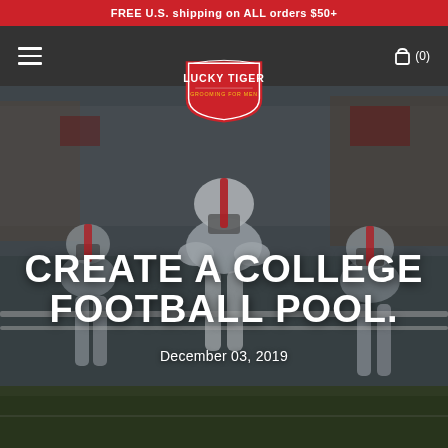FREE U.S. shipping on ALL orders $50+
[Figure (logo): Lucky Tiger brand logo — red shield shape with white text LUCKY TIGER and tagline GROOMING FOR MEN]
[Figure (photo): Alabama college football players in white helmets and uniforms running onto field with crowd in background]
CREATE A COLLEGE FOOTBALL POOL.
December 03, 2019